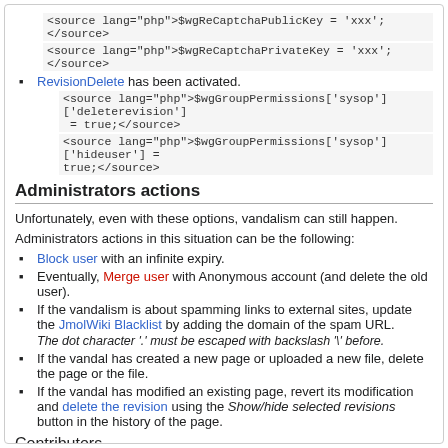<source lang="php">$wgReCaptchaPublicKey = 'xxx';</source>
<source lang="php">$wgReCaptchaPrivateKey = 'xxx';</source>
RevisionDelete has been activated.
<source lang="php">$wgGroupPermissions['sysop']['deleterevision'] = true;</source>
<source lang="php">$wgGroupPermissions['sysop']['hideuser'] = true;</source>
Administrators actions
Unfortunately, even with these options, vandalism can still happen. Administrators actions in this situation can be the following:
Block user with an infinite expiry.
Eventually, Merge user with Anonymous account (and delete the old user).
If the vandalism is about spamming links to external sites, update the JmolWiki Blacklist by adding the domain of the spam URL.
The dot character '.' must be escaped with backslash '\' before.
If the vandal has created a new page or uploaded a new file, delete the page or the file.
If the vandal has modified an existing page, revert its modification and delete the revision using the Show/hide selected revisions button in the history of the page.
Contributors
NicolasVervelle